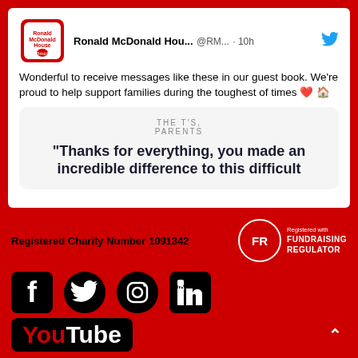[Figure (screenshot): Screenshot of a Ronald McDonald House tweet showing a quote from guest book. Tweet header shows the account name 'Ronald McDonald Hou...' with handle '@RM...' and '· 10h' timestamp and Twitter bird icon. Tweet body says 'Wonderful to receive messages like these in our guest book. We're proud to help support families during the toughest of times ❤️ 🏠'. Below is a quote card showing 'THE T'S, PARENTS' attribution and the quote '"Thanks for everything, you made an incredible difference to this difficult...']
Registered Charity Number 1091342
[Figure (logo): Fundraising Regulator (FR) badge - circle with FR letters and text 'Registered with FUNDRAISING REGULATOR']
[Figure (infographic): Social media icons row: Facebook, Twitter, Instagram, LinkedIn logos in black]
[Figure (logo): YouTube logo in black and red]